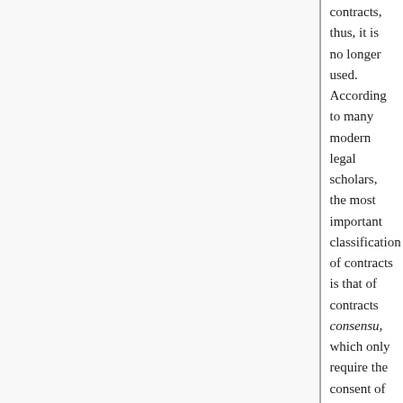contracts, thus, it is no longer used. According to many modern legal scholars, the most important classification of contracts is that of contracts consensu, which only require the consent of wills to create obligations, and formal contracts, which have to be concluded in a specific form in order to be valid (for example, in many European countries a contract regulating the purchase of real estate must be concluded in a special written form that is validated by a public notary).[10]
Delicts [ edit ]
See also: Obligatio ex delicto
Quasi-contracts [ edit ]
Quasi-contracts are supposed to be sources of obligations very similar to contracts, but the main difference is that